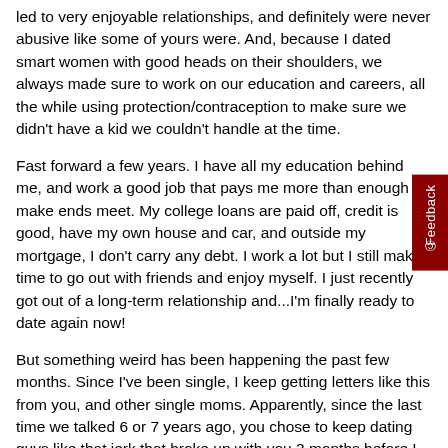led to very enjoyable relationships, and definitely were never abusive like some of yours were. And, because I dated smart women with good heads on their shoulders, we always made sure to work on our education and careers, all the while using protection/contraception to make sure we didn't have a kid we couldn't handle at the time.
Fast forward a few years. I have all my education behind me, and work a good job that pays me more than enough to make ends meet. My college loans are paid off, credit is good, have my own house and car, and outside my mortgage, I don't carry any debt. I work a lot but I still make time to go out with friends and enjoy myself. I just recently got out of a long-term relationship and...I'm finally ready to date again now!
But something weird has been happening the past few months. Since I've been single, I keep getting letters like this from you, and other single moms. Apparently, since the last time we talked 6 or 7 years ago, you chose to keep dating guys like that jerk that broke up with you 3 months before I met you. You always saw...